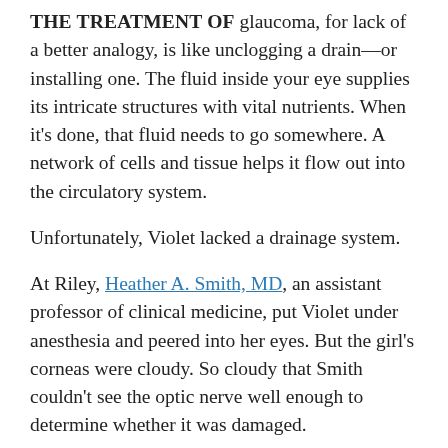THE TREATMENT OF glaucoma, for lack of a better analogy, is like unclogging a drain—or installing one. The fluid inside your eye supplies its intricate structures with vital nutrients. When it's done, that fluid needs to go somewhere. A network of cells and tissue helps it flow out into the circulatory system.

Unfortunately, Violet lacked a drainage system.

At Riley, Heather A. Smith, MD, an assistant professor of clinical medicine, put Violet under anesthesia and peered into her eyes. But the girl's corneas were cloudy. So cloudy that Smith couldn't see the optic nerve well enough to determine whether it was damaged.

The solution: perform microsurgery to open the canals. In Violet's case, Smith made two attempts in each eye—all before Violet was two months old